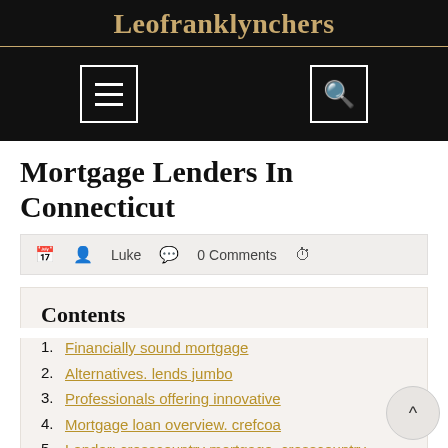Leofranklynchers
Mortgage Lenders In Connecticut
Luke  0 Comments
Contents
Financially sound mortgage
Alternatives. lends jumbo
Professionals offering innovative
Mortgage loan overview. crefcoa
Lender: crosscountry mortgage. crosscountry mortgage